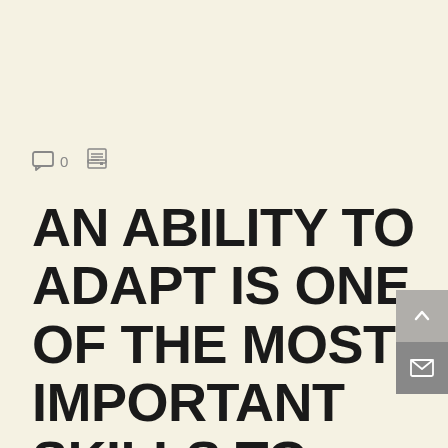[Figure (other): Comment icon with count '0' and a print/article icon]
AN ABILITY TO ADAPT IS ONE OF THE MOST IMPORTANT SKILLS TO HAVE IN THE KITCHEN. FOLLOWING A RECIPE CAN GIVE HOME COOKS THE CURSORY KNOWLEDGE THEY